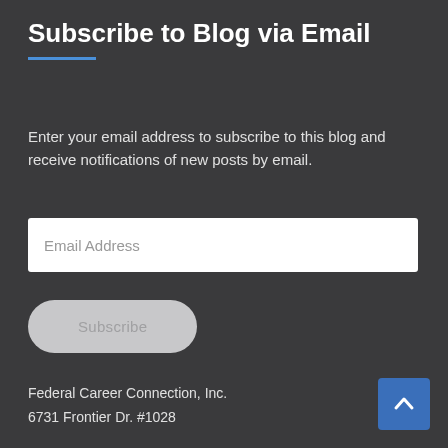Subscribe to Blog via Email
Enter your email address to subscribe to this blog and receive notifications of new posts by email.
Email Address
Subscribe
Federal Career Connection, Inc.
6731 Frontier Dr. #1028